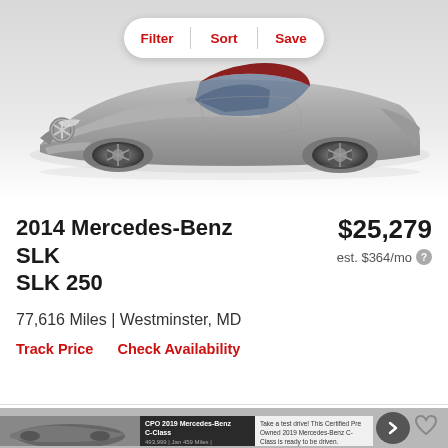[Figure (photo): Silver Mercedes-Benz SLK 250 convertible car with red interior, photographed from front-left angle against a light gray gradient background]
Filter | Sort | Save
2014 Mercedes-Benz SLK SLK 250
$25,279
est. $364/mo
77,616 Miles | Westminster, MD
Track Price   Check Availability
[Figure (screenshot): Advertisement banner for CPO 2019 Mercedes-Benz C-Class showing car image, text overlay, description and arrow button]